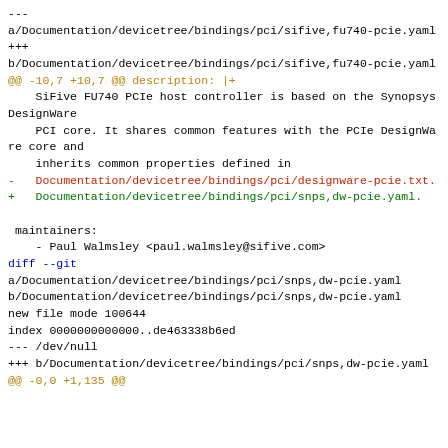---
a/Documentation/devicetree/bindings/pci/sifive,fu740-pcie.yaml
+++
b/Documentation/devicetree/bindings/pci/sifive,fu740-pcie.yaml
@@ -10,7 +10,7 @@ description: |+
    SiFive FU740 PCIe host controller is based on the Synopsys DesignWare
    PCI core. It shares common features with the PCIe DesignWare core and
    inherits common properties defined in
-   Documentation/devicetree/bindings/pci/designware-pcie.txt.
+   Documentation/devicetree/bindings/pci/snps,dw-pcie.yaml.

 maintainers:
    - Paul Walmsley <paul.walmsley@sifive.com>
diff --git
a/Documentation/devicetree/bindings/pci/snps,dw-pcie.yaml
b/Documentation/devicetree/bindings/pci/snps,dw-pcie.yaml
new file mode 100644
index 0000000000000..de463338b6ed
--- /dev/null
+++ b/Documentation/devicetree/bindings/pci/snps,dw-pcie.yaml
@@ -0,0 +1,135 @@